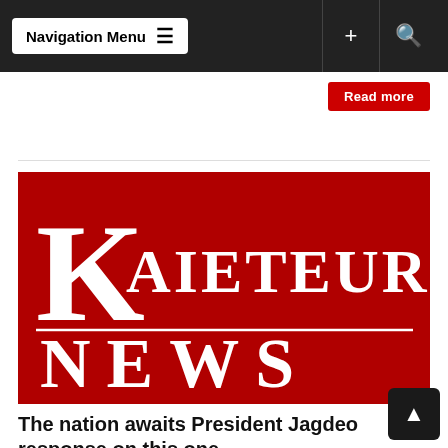Navigation Menu
Read more
[Figure (logo): Kaieteur News logo — white serif K and text 'KAIETEUR NEWS' on red background]
The nation awaits President Jagdeo response on this one
Sep 07, 2009  KNews  Features / Columnists, Freddie Kissoon Comments Off
Political conversation in the Georgetown circuit